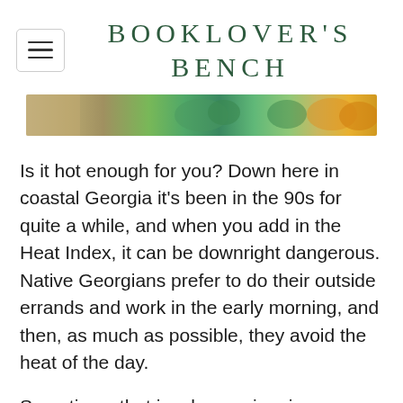BOOKLOVER'S BENCH
[Figure (photo): Cropped image of colorful summer drinks or food items with green mint and orange/yellow colors]
Is it hot enough for you? Down here in coastal Georgia it's been in the 90s for quite a while, and when you add in the Heat Index, it can be downright dangerous. Native Georgians prefer to do their outside errands and work in the early morning, and then, as much as possible, they avoid the heat of the day.
Sometimes that involves swimming or a cool